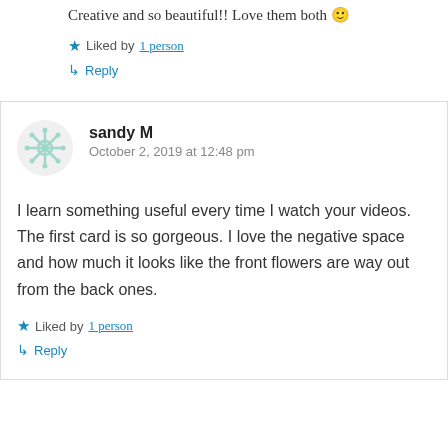Creative and so beautiful!! Love them both 🙂
★ Liked by 1 person
↳ Reply
sandy M
October 2, 2019 at 12:48 pm
I learn something useful every time I watch your videos. The first card is so gorgeous. I love the negative space and how much it looks like the front flowers are way out from the back ones.
★ Liked by 1 person
↳ Reply